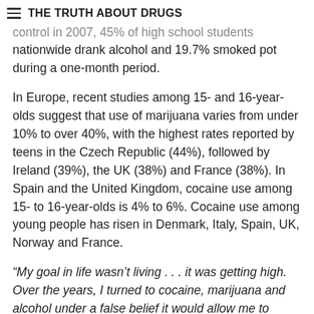THE TRUTH ABOUT DRUGS
control in 2007, 45% of high school students nationwide drank alcohol and 19.7% smoked pot during a one-month period.
In Europe, recent studies among 15- and 16-year-olds suggest that use of marijuana varies from under 10% to over 40%, with the highest rates reported by teens in the Czech Republic (44%), followed by Ireland (39%), the UK (38%) and France (38%). In Spain and the United Kingdom, cocaine use among 15- to 16-year-olds is 4% to 6%. Cocaine use among young people has risen in Denmark, Italy, Spain, UK, Norway and France.
“My goal in life wasn’t living . . . it was getting high. Over the years, I turned to cocaine, marijuana and alcohol under a false belief it would allow me to escape my problems. It just